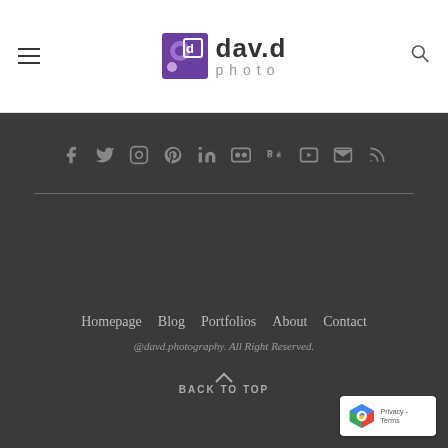[Figure (logo): dav.d photo logo with purple camera aperture icon and text]
Social icons: Facebook, Twitter, Instagram, Pinterest, LinkedIn, Flickr, Behance, YouTube, Email, RSS
Homepage  Blog  Portfolios  About  Contact
@davd.photography. All Right Reserved.
BACK TO TOP